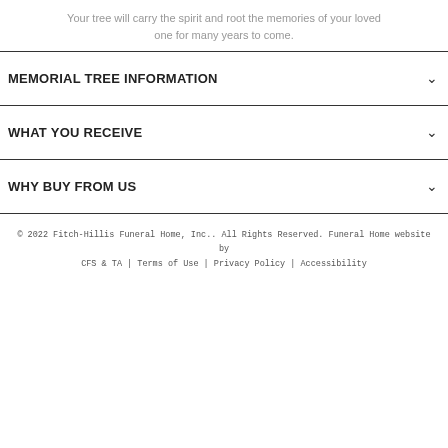Your tree will carry the spirit and root the memories of your loved one for many years to come.
MEMORIAL TREE INFORMATION
WHAT YOU RECEIVE
WHY BUY FROM US
© 2022 Fitch-Hillis Funeral Home, Inc.. All Rights Reserved. Funeral Home website by CFS & TA | Terms of Use | Privacy Policy | Accessibility